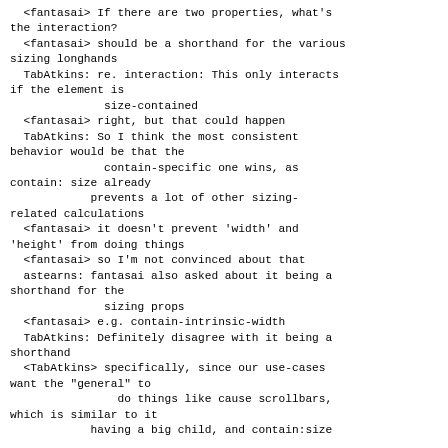<fantasai> If there are two properties, what's the interaction?
  <fantasai> should be a shorthand for the various sizing longhands
  TabAtkins: re. interaction: This only interacts if the element is
                size-contained
  <fantasai> right, but that could happen
  TabAtkins: So I think the most consistent behavior would be that the
                contain-specific one wins, as contain: size already
              prevents a lot of other sizing-related calculations
  <fantasai> it doesn't prevent 'width' and 'height' from doing things
  <fantasai> so I'm not convinced about that
  astearns: fantasai also asked about it being a shorthand for the
              sizing props
  <fantasai> e.g. contain-intrinsic-width
  TabAtkins: Definitely disagree with it being a shorthand
  <TabAtkins> specifically, since our use-cases want the "general" to
                do things like cause scrollbars, which is similar to it
              having a big child, and contain:size